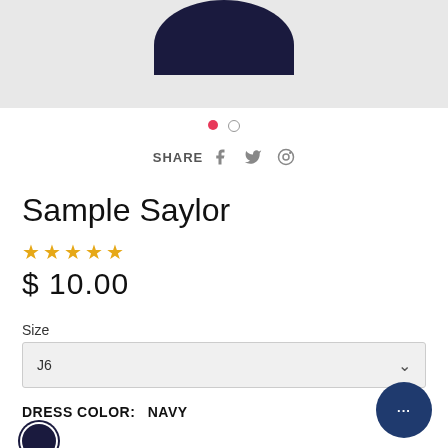[Figure (photo): Partial product image showing navy fabric garment on light grey background, cropped at top]
● ○
SHARE  f  🐦  ⊕
Sample Saylor
☆☆☆☆☆
$ 10.00
Size
J6  ∨
DRESS COLOR:   NAVY
[Figure (illustration): Navy color swatch circle]